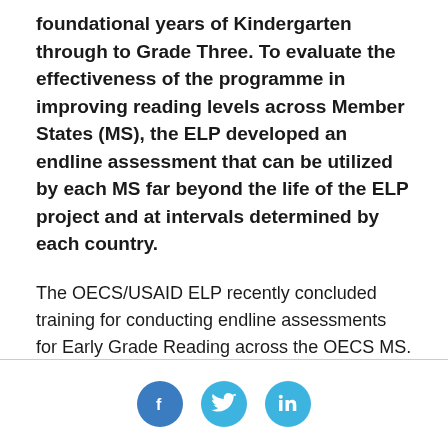foundational years of Kindergarten through to Grade Three. To evaluate the effectiveness of the programme in improving reading levels across Member States (MS), the ELP developed an endline assessment that can be utilized by each MS far beyond the life of the ELP project and at intervals determined by each country.
The OECS/USAID ELP recently concluded training for conducting endline assessments for Early Grade Reading across the OECS MS. This training, originally planned as an intense face to face workshop, was transformed into a comprehensive, advanced online training 4-day workshop due to COVID-19 movement restrictions. Additionally, the ELP purchased one
Social icons: Facebook, Twitter, LinkedIn